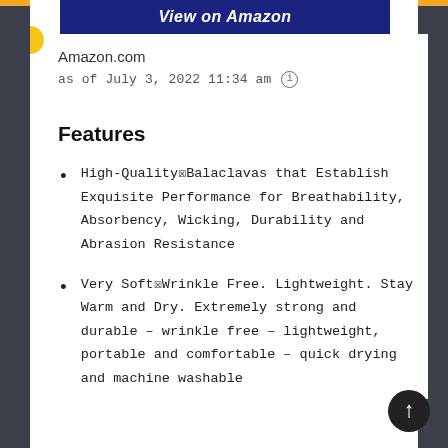[Figure (other): View on Amazon button - dark navy blue button with white bold text 'View on Amazon']
Amazon.com
as of July 3, 2022 11:34 am (i)
Features
High-Quality☒Balaclavas that Establish Exquisite Performance for Breathability, Absorbency, Wicking, Durability and Abrasion Resistance
Very Soft☒Wrinkle Free. Lightweight. Stay Warm and Dry. Extremely strong and durable – wrinkle free – lightweight, portable and comfortable – quick drying and machine washable